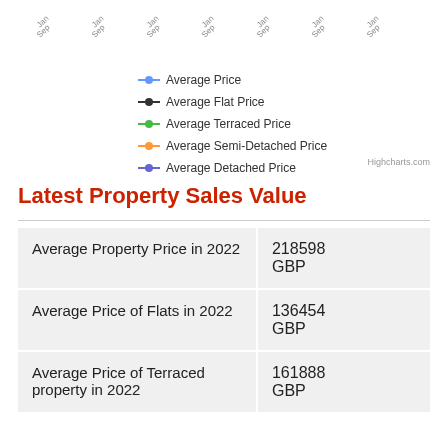[Figure (other): Top portion of a line chart showing axis date labels (Jan, Sep repeating) at top, partially visible]
[Figure (other): Chart legend showing five series: Average Price (blue), Average Flat Price (black), Average Terraced Price (green), Average Semi-Detached Price (orange), Average Detached Price (purple)]
Highcharts.com
Latest Property Sales Value
| Average Property Price in 2022 | 218598 GBP |
| Average Price of Flats in 2022 | 136454 GBP |
| Average Price of Terraced property in 2022 | 161888 GBP |